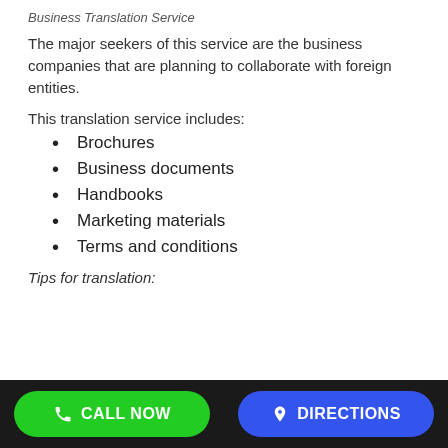Business Translation Service
The major seekers of this service are the business companies that are planning to collaborate with foreign entities.
This translation service includes:
Brochures
Business documents
Handbooks
Marketing materials
Terms and conditions
Tips for translation:
CALL NOW   DIRECTIONS